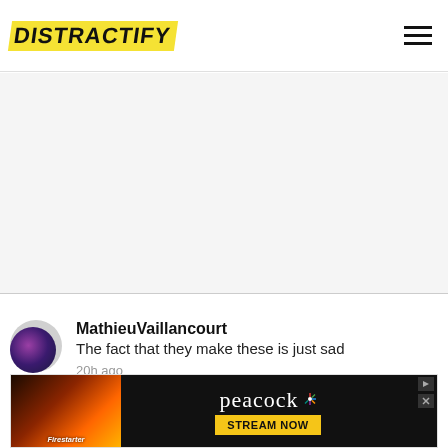DISTRACTIFY
[Figure (other): White/light gray advertisement placeholder area with bottom border]
MathieuVaillancourt
The fact that they make these is just sad
20h ago
View more replies (21)
[Figure (other): Peacock streaming service advertisement banner with Firestarter movie poster on left and 'peacock STREAM NOW' on right]